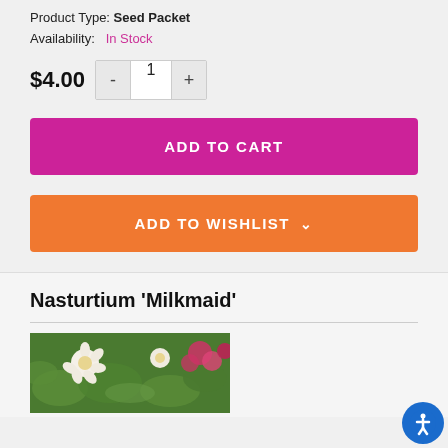Product Type: Seed Packet
Availability: In Stock
$4.00
ADD TO CART
ADD TO WISHLIST
Nasturtium 'Milkmaid'
[Figure (photo): Nasturtium Milkmaid flowers - white and pink flowers with green leaves]